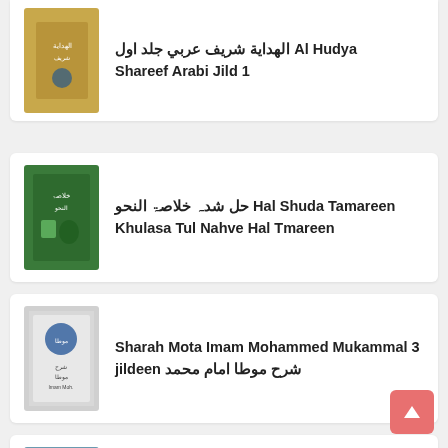الهداية شريف عربي جلد اول Al Hudya Shareef Arabi Jild 1
حل شدہ خلاصۃ النحو Hal Shuda Tamareen Khulasa Tul Nahve Hal Tmareen
Sharah Mota Imam Mohammed Mukammal 3 jildeen شرح موطا امام محمد
الشرح الکامل شرح شرح مائۃ عامل Al Sharha Al Kamil Sharaha Mi-at ul Aamil
Talkhees Ul Miftah اردو شرح تلخيص المفتاح